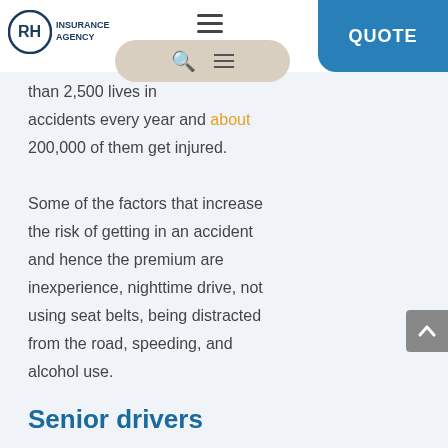RH Insurance Agency | QUOTE
than 2,500 lives in accidents every year and about 200,000 of them get injured.
Some of the factors that increase the risk of getting in an accident and hence the premium are inexperience, nighttime drive, not using seat belts, being distracted from the road, speeding, and alcohol use.
Senior drivers